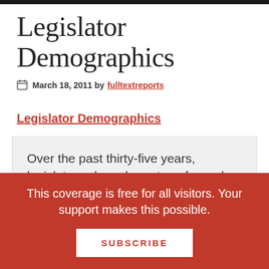Legislator Demographics
March 18, 2011 by fulltextreports
Legislator Demographics
Over the past thirty-five years, legislatures have been transformed from institutions of nearly complete homogeneity to diverse bodies that increasingly reflect the American population.
Since 1969, the number of women serving in
This coverage is free for all visitors. Your support makes this possible.
SUBSCRIBE